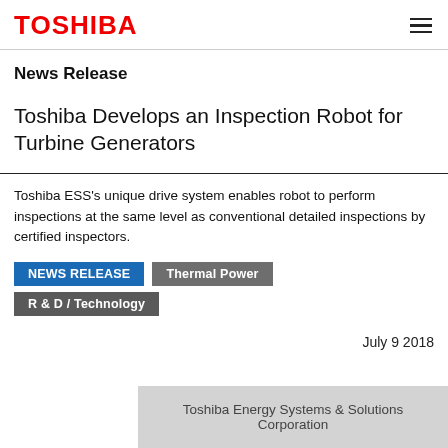TOSHIBA
News Release
Toshiba Develops an Inspection Robot for Turbine Generators
Toshiba ESS's unique drive system enables robot to perform inspections at the same level as conventional detailed inspections by certified inspectors.
NEWS RELEASE
Thermal Power
R & D / Technology
July 9 2018
Toshiba Energy Systems & Solutions Corporation